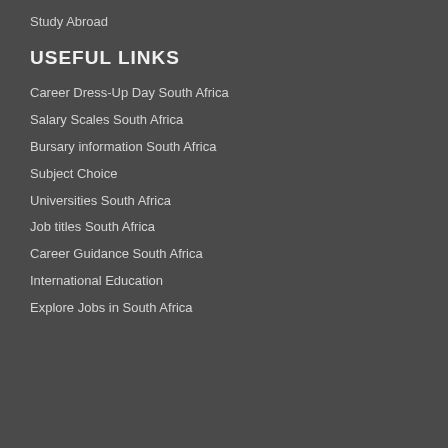Study Abroad
USEFUL LINKS
Career Dress-Up Day South Africa
Salary Scales South Africa
Bursary information South Africa
Subject Choice
Universities South Africa
Job titles South Africa
Career Guidance South Africa
International Education
Explore Jobs in South Africa